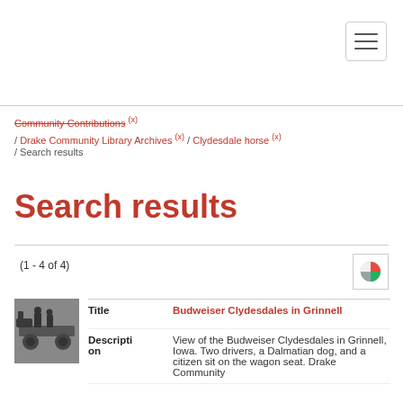[Navigation bar with hamburger menu]
Community Contributions (x) / Drake Community Library Archives (x) / Clydesdale horse (x) / Search results
Search results
(1 - 4 of 4)
|  | Title |  |
| --- | --- | --- |
|  | Budweiser Clydesdales in Grinnell |  |
| Description | View of the Budweiser Clydesdales in Grinnell, Iowa. Two drivers, a Dalmatian dog, and a citizen sit on the wagon seat. Drake Community |  |